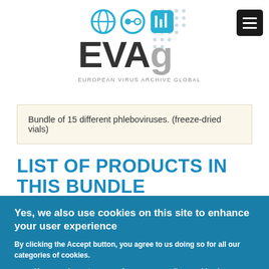[Figure (logo): EVAg (European Virus Archive Global) logo with icons and dotted pattern]
Bundle of 15 different phleboviruses. (freeze-dried vials)
LIST OF PRODUCTS IN THIS BUNDLE
Yes, we also use cookies on this site to enhance your user experience
By clicking the Accept button, you agree to us doing so for all our categories of cookies.
You can also set your preferences regarding cookies here.
Accept cookies